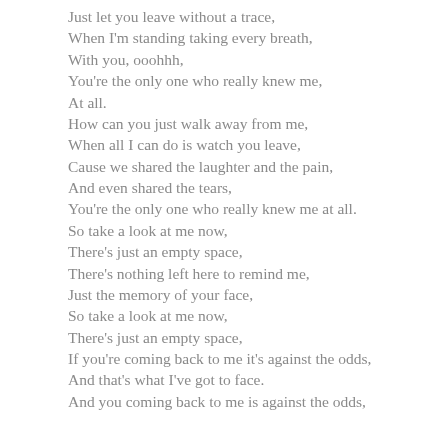Just let you leave without a trace,
When I'm standing taking every breath,
With you, ooohhh,
You're the only one who really knew me,
At all.
How can you just walk away from me,
When all I can do is watch you leave,
Cause we shared the laughter and the pain,
And even shared the tears,
You're the only one who really knew me at all.
So take a look at me now,
There's just an empty space,
There's nothing left here to remind me,
Just the memory of your face,
So take a look at me now,
There's just an empty space,
If you're coming back to me it's against the odds,
And that's what I've got to face.
And you coming back to me is against the odds,